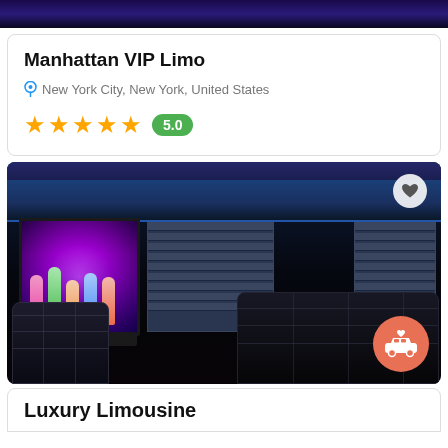[Figure (photo): Partial top image of a limo interior with dark/blue tones]
Manhattan VIP Limo
New York City, New York, United States
★★★★★ 5.0
[Figure (photo): Interior of a luxury party bus/limo showing black leather seats, a TV screen with dancing figures, blue LED ceiling lighting, and window blinds. An orange circular limo icon button is in the bottom right.]
Luxury Limousine (partial, cut off)